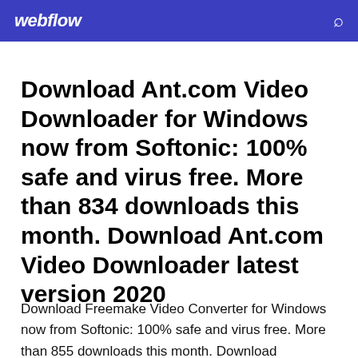webflow
Download Ant.com Video Downloader for Windows now from Softonic: 100% safe and virus free. More than 834 downloads this month. Download Ant.com Video Downloader latest version 2020
Download Freemake Video Converter for Windows now from Softonic: 100% safe and virus free. More than 855 downloads this month. Download Freemake Video Converter